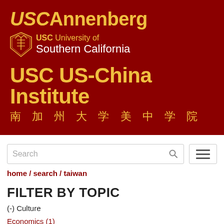[Figure (logo): USC Annenberg and USC University of Southern California logo on dark red background]
USC US-China Institute
南 加 州 大 学 美 中 学 院
Search
home / search / taiwan
FILTER BY TOPIC
(-) Culture
Economics (1)
Environment (1)
Human rights (1)